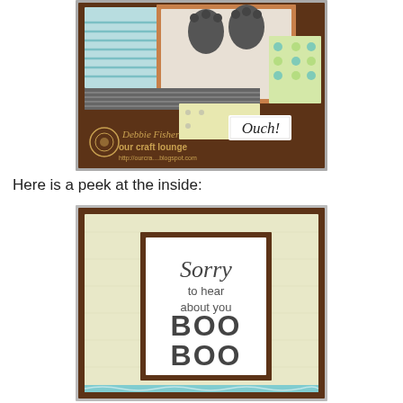[Figure (photo): Handmade greeting card exterior showing brown background with patterned paper pieces, bunny/elephant feet stamped image, and 'Ouch!' text label. Watermark reads 'Debbie Fisher our craft lounge'.]
Here is a peek at the inside:
[Figure (photo): Inside of handmade greeting card showing cream/ivory background with brown mat frame holding a white card stamped with 'Sorry to hear about your BOO BOO' in mixed fonts.]